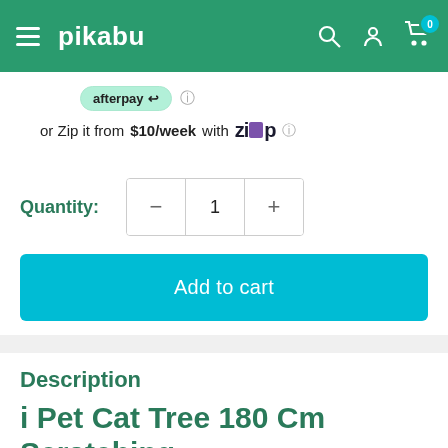pikabu
[Figure (logo): Afterpay logo badge with mint green background and arrow icon]
or Zip it from $10/week with Zip
Quantity: 1
Add to cart
Description
i Pet Cat Tree 180 Cm Scratching